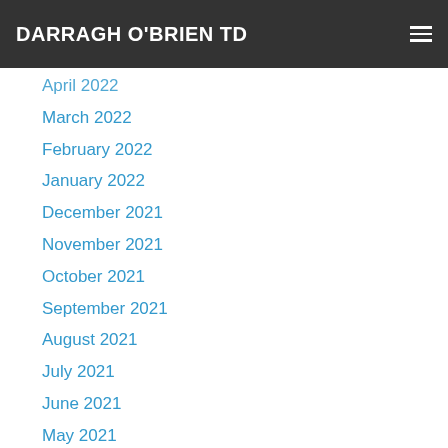DARRAGH O'BRIEN TD
April 2022
March 2022
February 2022
January 2022
December 2021
November 2021
October 2021
September 2021
August 2021
July 2021
June 2021
May 2021
April 2021
March 2021
February 2021
January 2021
December 2020